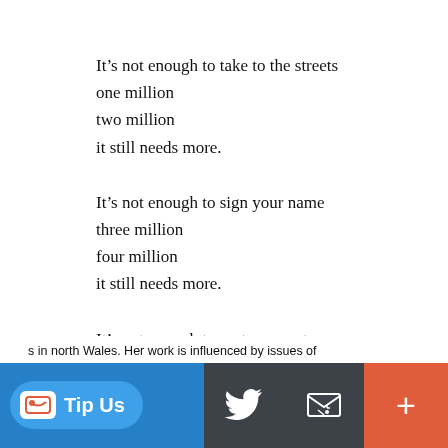It’s not enough to take to the streets
one million
two million
it still needs more.
It’s not enough to sign your name
three million
four million
it still needs more.
It’s not enough to cast your vote
five million
six million
it still needs more.
It’s not enough
the clowns still have more.
s in north Wales. Her work is influenced by issues of